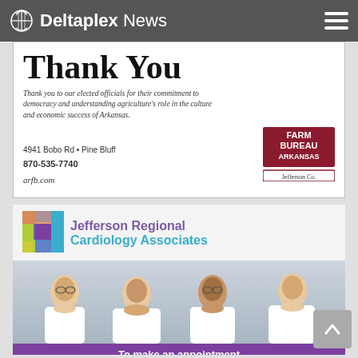Deltaplex News
[Figure (illustration): Farm Bureau Arkansas Jefferson County advertisement with 'Thank You' heading, italic text thanking elected officials, address 4941 Bobo Rd, Pine Bluff, phone 870-535-7740, website arfb.com, and Farm Bureau Arkansas Jefferson Co. logo]
[Figure (illustration): Jefferson Regional Cardiology Associates advertisement with logo, photo of four doctors in white coats, and purple footer with appointment call information: (870) 541-4285]